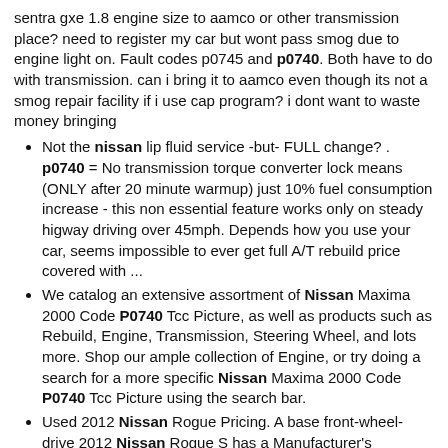sentra gxe 1.8 engine size to aamco or other transmission place? need to register my car but wont pass smog due to engine light on. Fault codes p0745 and p0740. Both have to do with transmission. can i bring it to aamco even though its not a smog repair facility if i use cap program? i dont want to waste money bringing
Not the nissan lip fluid service -but- FULL change? . p0740 = No transmission torque converter lock means (ONLY after 20 minute warmup) just 10% fuel consumption increase - this non essential feature works only on steady higway driving over 45mph. Depends how you use your car, seems impossible to ever get full A/T rebuild price covered with ...
We catalog an extensive assortment of Nissan Maxima 2000 Code P0740 Tcc Picture, as well as products such as Rebuild, Engine, Transmission, Steering Wheel, and lots more. Shop our ample collection of Engine, or try doing a search for a more specific Nissan Maxima 2000 Code P0740 Tcc Picture using the search bar.
Used 2012 Nissan Rogue Pricing. A base front-wheel-drive 2012 Nissan Rogue S has a Manufacturer's Suggested Retail Price (MSRP) starting just under $22,500 ... A P0740 OBD-II code is a generic trouble code that is supported by many cars.. kelso roundhead cross gamefowl. tetragrammaton pdf rust base design tool online;